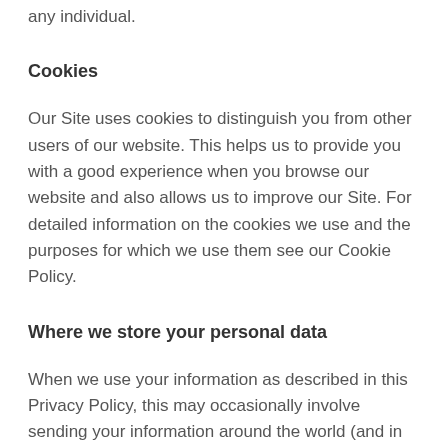any individual.
Cookies
Our Site uses cookies to distinguish you from other users of our website. This helps us to provide you with a good experience when you browse our website and also allows us to improve our Site. For detailed information on the cookies we use and the purposes for which we use them see our Cookie Policy.
Where we store your personal data
When we use your information as described in this Privacy Policy, this may occasionally involve sending your information around the world (and in particular where you are located within the European Economic Area (EEA), this includes sending it outside the EEA). By providing us with your personal information, you